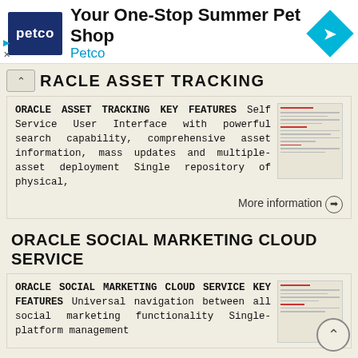[Figure (other): Petco advertisement banner with logo, headline 'Your One-Stop Summer Pet Shop', brand name 'Petco', and a blue diamond navigation icon]
ORACLE ASSET TRACKING
ORACLE ASSET TRACKING KEY FEATURES Self Service User Interface with powerful search capability, comprehensive asset information, mass updates and multiple-asset deployment Single repository of physical,
More information →
ORACLE SOCIAL MARKETING CLOUD SERVICE
ORACLE SOCIAL MARKETING CLOUD SERVICE KEY FEATURES Universal navigation between all social marketing functionality Single-platform management